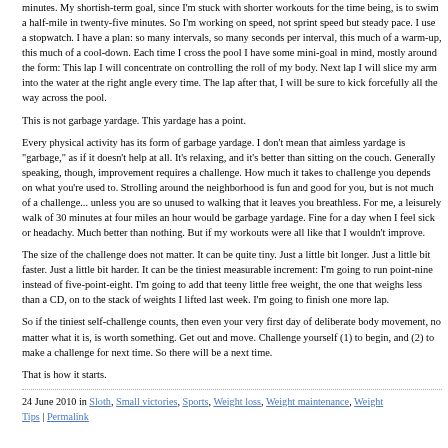minutes.  My shortish-term goal, since I'm stuck with shorter workouts for the time being, is to swim a half-mile in twenty-five minutes.  So I'm working on speed, not sprint speed but steady pace. I use a stopwatch.  I have a plan:  so many intervals, so many seconds per interval, this much of a warm-up, this much of a cool-down.  Each time I cross the pool I have some mini-goal in mind, mostly around the form:  This lap I will concentrate on controlling the roll of my body.  Next lap I will slice my arm into the water at the right angle every time.  The lap after that, I will be sure to kick forcefully all the way across the pool.
This is not garbage yardage.  This yardage has a point.
Every physical activity has its form of garbage yardage.  I don't mean that aimless yardage is "garbage," as if it doesn't help at all.  It's relaxing, and it's better than sitting on the couch.  Generally speaking, though, improvement requires a challenge.  How much it takes to challenge you depends on what you're used to.  Strolling around the neighborhood is fun and good for you, but is not much of a challenge... unless you are so unused to walking that it leaves you breathless.  For me, a leisurely walk of 30 minutes at four miles an hour would be garbage yardage.  Fine for a day when I feel sick or headachy.   Much better than nothing.  But if my workouts were all like that I wouldn't improve.
The size of the challenge does not matter.  It can be quite tiny.  Just a little bit longer.   Just a little bit faster.  Just a little bit harder.  It can be the tiniest measurable increment:  I'm going to run point-nine instead of five-point-eight.  I'm going to add that teeny little free weight, the one that weighs less than a CD, on to the stack of weights I lifted last week.  I'm going to finish one more lap.
So if the tiniest self-challenge counts, then even your very first day of deliberate body movement, no matter what it is, is worth something.  Get out and move.  Challenge yourself (1) to begin, and (2) to make a challenge for next time. So there will be a next time.
That is how it starts.
24 June 2010 in Sloth, Small victories, Sports, Weight loss, Weight maintenance, Weight Tips | Permalink